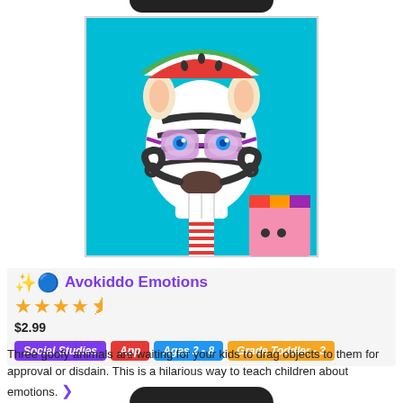[Figure (illustration): A cartoon zebra with purple glasses, a large curly mustache, and a watermelon slice on its head, against a teal background. A small pink character with a colorful hat is in the bottom-right corner.]
✨🔵 Avokiddo Emotions
★★★★½
$2.99
Social Studies
App
Ages 2 - 8
Grade Toddler - 3
Three goofy animals are waiting for your kids to drag objects to them for approval or disdain. This is a hilarious way to teach children about emotions. ❯